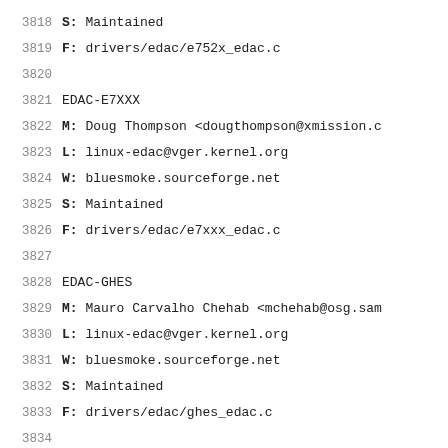3818    S:      Maintained
3819    F:      drivers/edac/e752x_edac.c
3820
3821    EDAC-E7XXX
3822    M:      Doug Thompson <dougthompson@xmission.c
3823    L:      linux-edac@vger.kernel.org
3824    W:      bluesmoke.sourceforge.net
3825    S:      Maintained
3826    F:      drivers/edac/e7xxx_edac.c
3827
3828    EDAC-GHES
3829    M:      Mauro Carvalho Chehab <mchehab@osg.sam
3830    L:      linux-edac@vger.kernel.org
3831    W:      bluesmoke.sourceforge.net
3832    S:      Maintained
3833    F:      drivers/edac/ghes_edac.c
3834
3835    EDAC-I82443BXGX
3836    M:      Tim Small <tim@buttersideup.com>
3837    L:      linux-edac@vger.kernel.org
3838    W:      bluesmoke.sourceforge.net